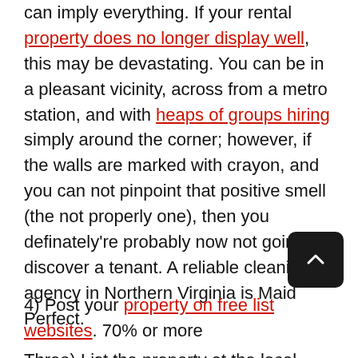can imply everything. If your rental property does no longer display well, this may be devastating. You can be in a pleasant vicinity, across from a metro station, and with heaps of groups hiring simply around the corner; however, if the walls are marked with crayon, and you can not pinpoint that positive smell (the not properly one), then you definately're probably now not going to discover a tenant. A reliable cleaning agency in Northern Virginia is Maid Perfect.
Three) List the property at the local MLS. The Multiple Listing Service (MLS) in many areas goes to be a stable source of leads for potential tenants. Real property agents can list your own home on the MLS, after which the assets are uncovered to thousands of other sellers who can display the assets and locate tenants for your unit. In Northern Virginia, make sure your home is indexed on MRIS.
4) Post your property on free list websites. 70% or more